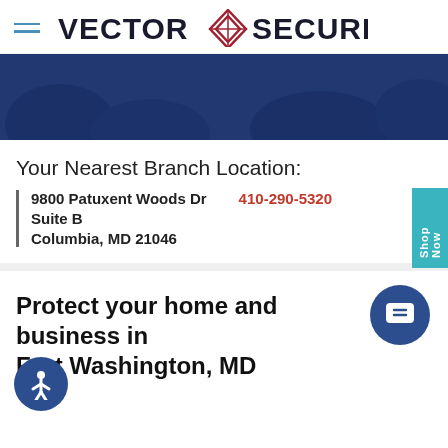VECTOR SECURITY
[Figure (photo): Dark blue tinted banner photo of outdoor sign with Vector Security logo and octagonal sign in background with trees]
Your Nearest Branch Location:
9800 Patuxent Woods Dr  410-290-5320
Suite B
Columbia, MD 21046
Protect your home and business in Fort Washington, MD